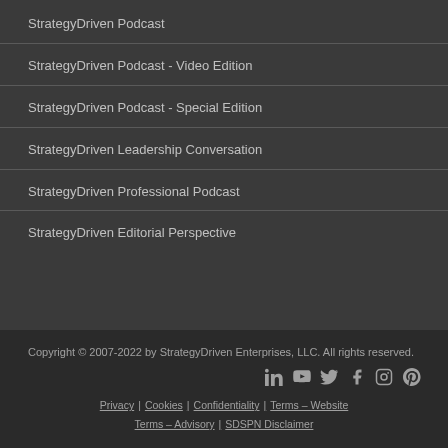StrategyDriven Podcast
StrategyDriven Podcast - Video Edition
StrategyDriven Podcast - Special Edition
StrategyDriven Leadership Conversation
StrategyDriven Professional Podcast
StrategyDriven Editorial Perspective
Copyright © 2007-2022 by StrategyDriven Enterprises, LLC. All rights reserved.
Privacy | Cookies | Confidentiality | Terms – Website | Terms – Advisory | SDSPN Disclaimer